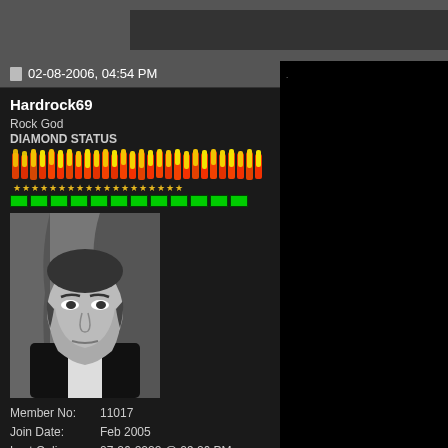02-08-2006, 04:54 PM
Hardrock69
Rock God
DIAMOND STATUS
[Figure (photo): Black and white portrait photo of a man in a tuxedo with bow tie, stern expression]
| Member No: | 11017 |
| Join Date: | Feb 2005 |
| Last Online: | 07-26-2022 @ 09:26 PM |
| Location: | A Small Dive in a trashy neighborhood somewhere on Fornax 9 |
| Posts: | 21,785 |
| Status: | Offline |
| Thanks: | 1,523 |